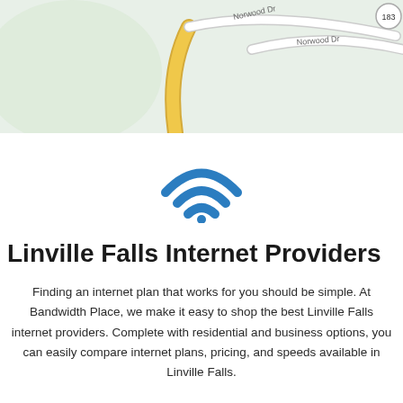[Figure (map): Street map showing Norwood Dr area with road intersection, yellow road and white roads on green background. Road 183 badge visible in top right corner.]
[Figure (illustration): Blue WiFi icon with three arcs and a dot at the bottom, centered on white background.]
Linville Falls Internet Providers
Finding an internet plan that works for you should be simple. At Bandwidth Place, we make it easy to shop the best Linville Falls internet providers. Complete with residential and business options, you can easily compare internet plans, pricing, and speeds available in Linville Falls.